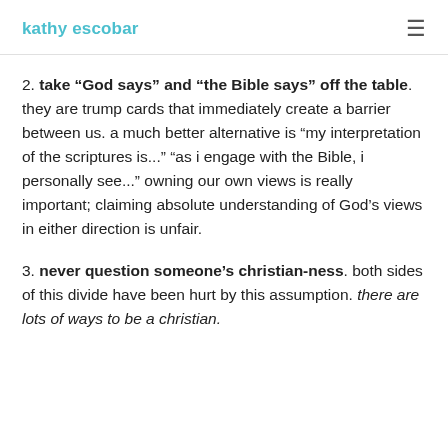kathy escobar
2. take “God says” and “the Bible says” off the table. they are trump cards that immediately create a barrier between us. a much better alternative is “my interpretation of the scriptures is...” “as i engage with the Bible, i personally see...” owning our own views is really important; claiming absolute understanding of God’s views in either direction is unfair.
3. never question someone’s christian-ness. both sides of this divide have been hurt by this assumption. there are lots of ways to be a christian.